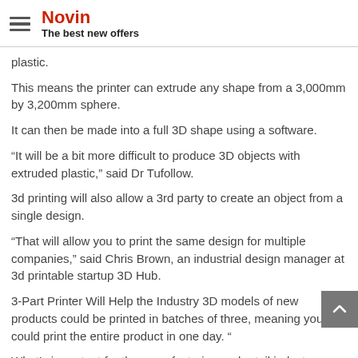Novin
The best new offers
plastic.
This means the printer can extrude any shape from a 3,000mm by 3,200mm sphere.
It can then be made into a full 3D shape using a software.
“It will be a bit more difficult to produce 3D objects with extruded plastic,” said Dr Tufollow.
3d printing will also allow a 3rd party to create an object from a single design.
“That will allow you to print the same design for multiple companies,” said Chris Brown, an industrial design manager at 3d printable startup 3D Hub.
3-Part Printer Will Help the Industry 3D models of new products could be printed in batches of three, meaning you could print the entire product in one day. “
What’s important for the manufacturing and retail indust…